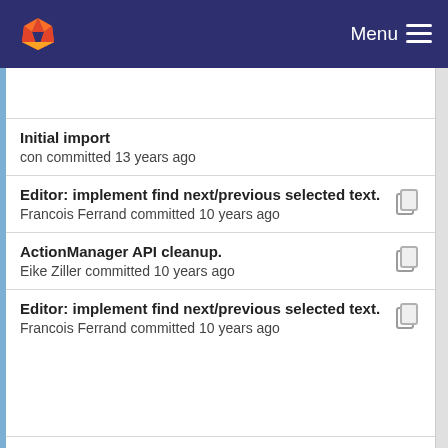GitLab — Menu
Initial import — con committed 13 years ago
Editor: implement find next/previous selected text. — Francois Ferrand committed 10 years ago
ActionManager API cleanup. — Eike Ziller committed 10 years ago
Editor: implement find next/previous selected text. — Francois Ferrand committed 10 years ago
ActionManager API cleanup. — Eike Ziller committed 10 years ago
Editor: implement find next/previous selected text.